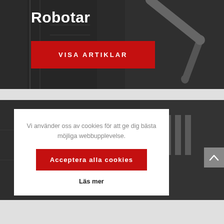[Figure (photo): Dark industrial background showing a robotic arm, with a red 'VISA ARTIKLAR' button overlay and bold white 'Robotar' title]
[Figure (screenshot): Cookie consent modal overlay on a second dark industrial photo background. Modal contains Swedish text 'Vi använder oss av cookies för att ge dig bästa möjliga webbupplevelse.' with a red 'Acceptera alla cookies' button and a 'Läs mer' link.]